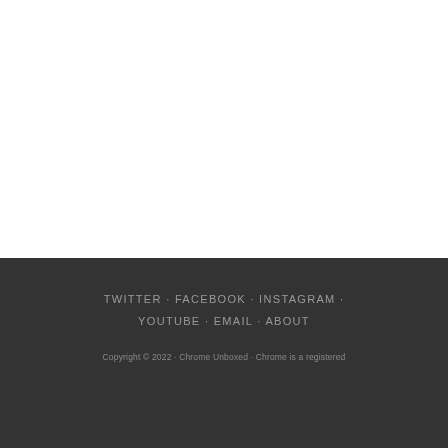TWITTER · FACEBOOK · INSTAGRAM · YOUTUBE · EMAIL · ABOUT
Copyright © 2022 · Chrome Unboxed · Chrome is a registered